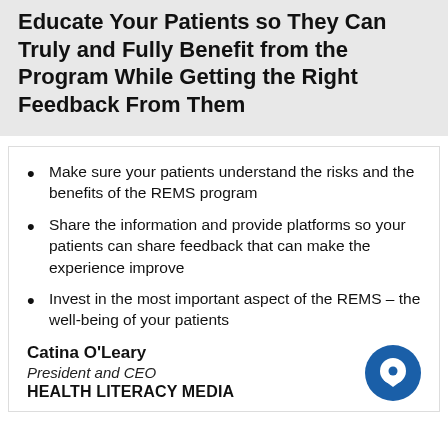Educate Your Patients so They Can Truly and Fully Benefit from the Program While Getting the Right Feedback From Them
Make sure your patients understand the risks and the benefits of the REMS program
Share the information and provide platforms so your patients can share feedback that can make the experience improve
Invest in the most important aspect of the REMS – the well-being of your patients
Catina O'Leary
President and CEO
HEALTH LITERACY MEDIA